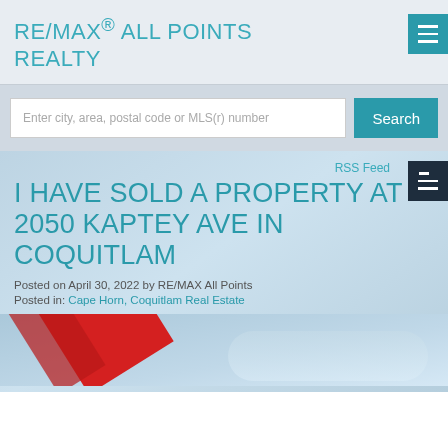RE/MAX® ALL POINTS REALTY
Enter city, area, postal code or MLS(r) number
Search
RSS Feed
I HAVE SOLD A PROPERTY AT 2050 KAPTEY AVE IN COQUITLAM
Posted on April 30, 2022 by RE/MAX All Points
Posted in: Cape Horn, Coquitlam Real Estate
[Figure (photo): Property listing photo showing RE/MAX real estate sold sign with red diagonal stripe, partially visible at bottom of page]